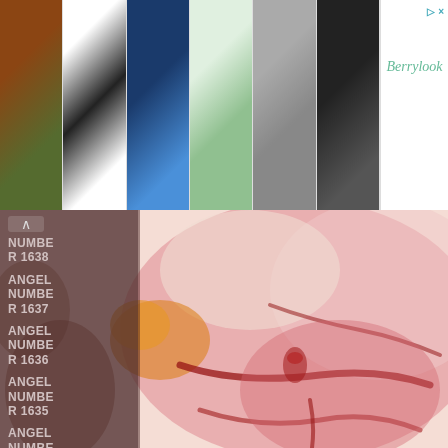[Figure (photo): Advertisement banner showing a row of 6 clothing/jacket photos (various styles: plaid jacket, black-white patterned coat, floral jacket, green dress, grey hoodie, black long coat) followed by a white panel with an arrow ad marker and 'Berrylook' brand logo]
[Figure (illustration): Screenshot of a webpage showing a semi-transparent dark sidebar on the left with navigation links (ANGEL NUMBER 1638, ANGEL NUMBER 1637, ANGEL NUMBER 1636, ANGEL NUMBER 1635, ANGEL NUMBER 1634, ANGEL NUMBER 1632, ANGEL NUMBER partial) and an up-arrow button, overlaid on an abstract pink/red watercolor painting background]